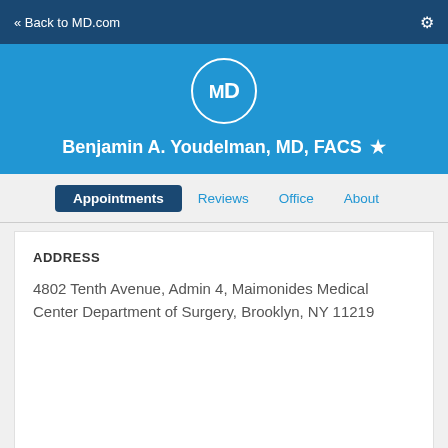« Back to MD.com
Benjamin A. Youdelman, MD, FACS
Appointments  Reviews  Office  About
ADDRESS
4802 Tenth Avenue, Admin 4, Maimonides Medical Center Department of Surgery, Brooklyn, NY 11219